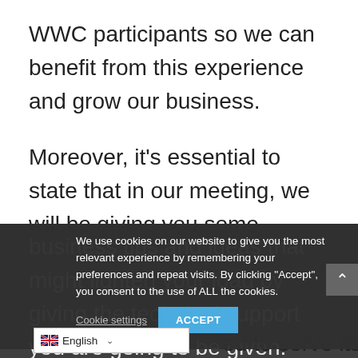WWC participants so we can benefit from this experience and grow our business.
Moreover, it's essential to state that in our meeting, we will be giving you some business tips and ideas that might lighten your load by giving the technical support you are going to be given.
We use cookies on our website to give you the most relevant experience by remembering your preferences and repeat visits. By clicking "Accept", you consent to the use of ALL the cookies.
Cookie settings  ACCEPT
English
ed to serve its clients